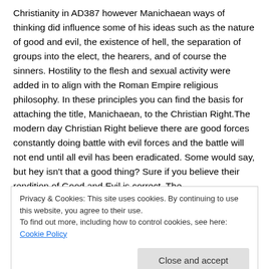Christianity in AD387 however Manichaean ways of thinking did influence some of his ideas such as the nature of good and evil, the existence of hell, the separation of groups into the elect, the hearers, and of course the sinners. Hostility to the flesh and sexual activity were added in to align with the Roman Empire religious philosophy. In these principles you can find the basis for attaching the title, Manichaean, to the Christian Right.The modern day Christian Right believe there are good forces constantly doing battle with evil forces and the battle will not end until all evil has been eradicated. Some would say, but hey isn't that a good thing? Sure if you believe their rendition of Good and Evil is correct. The
Privacy & Cookies: This site uses cookies. By continuing to use this website, you agree to their use.
To find out more, including how to control cookies, see here: Cookie Policy
Close and accept
based on the day of the week, any country could be included